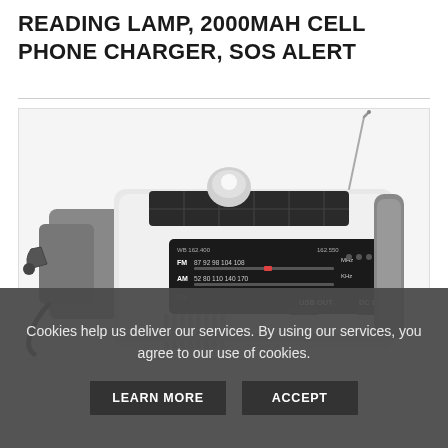READING LAMP, 2000MAH CELL PHONE CHARGER, SOS ALERT
[Figure (photo): Emergency hand-crank weather radio with solar panel, telescoping antenna, FM/AM/WX tuner display showing frequencies (FM 87-108 MHz, AM 52-170 kHz, WX 162.400-162.550 MHz), USB OUT and DC IN ports, reading lamp arm, and hand crank. Device is white and gray colored.]
Cookies help us deliver our services. By using our services, you agree to our use of cookies.
LEARN MORE
ACCEPT